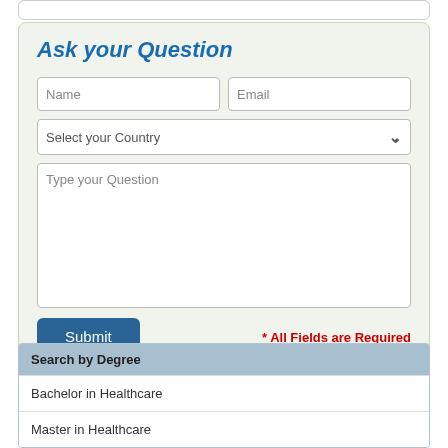Ask your Question
Name
Email
Select your Country
Type your Question
Submit
* All Fields are Required
Search by Degree
Bachelor in Healthcare
Master in Healthcare